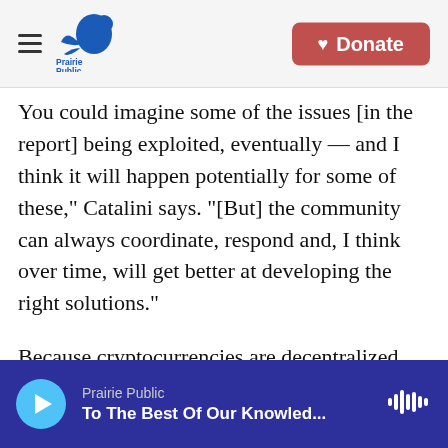Prairie Public | Donate
You could imagine some of the issues [in the report] being exploited, eventually — and I think it will happen potentially for some of these," Catalini says. "[But] the community can always coordinate, respond and, I think over time, will get better at developing the right solutions."
Because cryptocurrencies are decentralized, with no oversight by governments or central banks, those solutions will require the attention and consensus of the participants in those networks.
At Trail of Bits, Dan Guido says he thinks cryptocurrencies and blockchain have a promise
Prairie Public | To The Best Of Our Knowled...